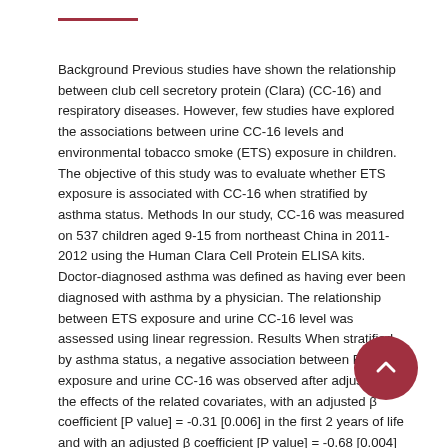Background Previous studies have shown the relationship between club cell secretory protein (Clara) (CC-16) and respiratory diseases. However, few studies have explored the associations between urine CC-16 levels and environmental tobacco smoke (ETS) exposure in children. The objective of this study was to evaluate whether ETS exposure is associated with CC-16 when stratified by asthma status. Methods In our study, CC-16 was measured on 537 children aged 9-15 from northeast China in 2011-2012 using the Human Clara Cell Protein ELISA kits. Doctor-diagnosed asthma was defined as having ever been diagnosed with asthma by a physician. The relationship between ETS exposure and urine CC-16 level was assessed using linear regression. Results When stratified by asthma status, a negative association between ETS exposure and urine CC-16 was observed after adjusting for the effects of the related covariates, with an adjusted β coefficient [P value] = -0.31 [0.006] in the first 2 years of life and with an adjusted β coefficient [P value] = -0.68 [0.004] in the first 2 years of life and current. Conclusions Our